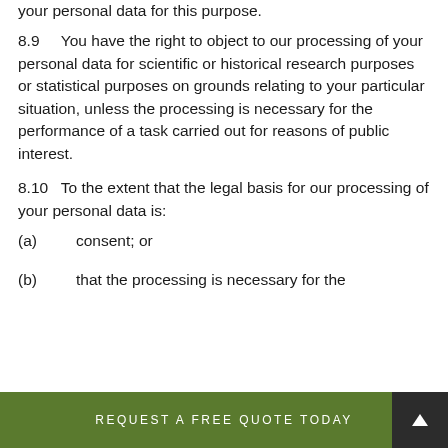your personal data for this purpose.
8.9    You have the right to object to our processing of your personal data for scientific or historical research purposes or statistical purposes on grounds relating to your particular situation, unless the processing is necessary for the performance of a task carried out for reasons of public interest.
8.10   To the extent that the legal basis for our processing of your personal data is:
(a)    consent; or
(b)    that the processing is necessary for the
REQUEST A FREE QUOTE TODAY